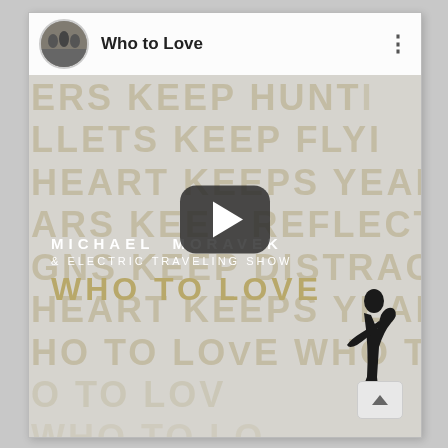[Figure (screenshot): YouTube video thumbnail/player showing 'Who to Love' by Michael Moravek & Electric Traveling Show. Background has large bold watermark text repeating phrases: KEEP HUNTING, KEEP FLYING, HEART KEEPS YEARNING, EARS KEEP REFLECTING, SIGNS KEEP DISTRACTING, HEART KEEPS YEARNING, WHO TO LOVE. Center shows a YouTube play button. Bottom left shows artist name MICHAEL MORAVEK & ELECTRIC TRAVELING SHOW and album title WHO TO LOVE in gold. Bottom right shows a dark silhouette figure. Top bar shows thumbnail circle image and title 'Who to Love' with a three-dot menu.]